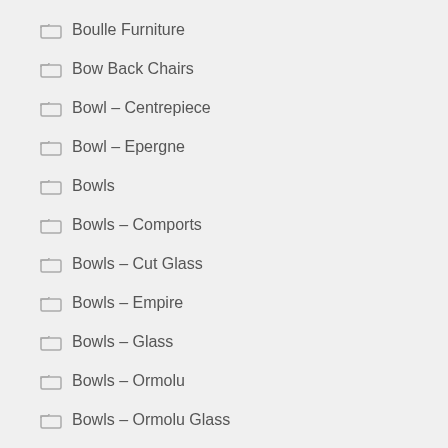Boulle Furniture
Bow Back Chairs
Bowl – Centrepiece
Bowl – Epergne
Bowls
Bowls – Comports
Bowls – Cut Glass
Bowls – Empire
Bowls – Glass
Bowls – Ormolu
Bowls – Ormolu Glass
Box – Caddy
Box – Letter